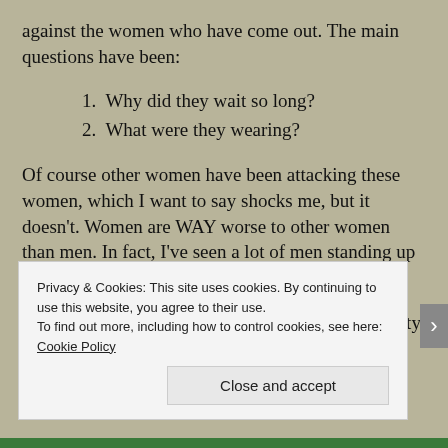against the women who have come out. The main questions have been:
1. Why did they wait so long?
2. What were they wearing?
Of course other women have been attacking these women, which I want to say shocks me, but it doesn't. Women are WAY worse to other women than men. In fact, I've seen a lot of men standing up for these women and I say kudos to those guys.
As someone who has been attacked and the majority of
Privacy & Cookies: This site uses cookies. By continuing to use this website, you agree to their use.
To find out more, including how to control cookies, see here: Cookie Policy
Close and accept